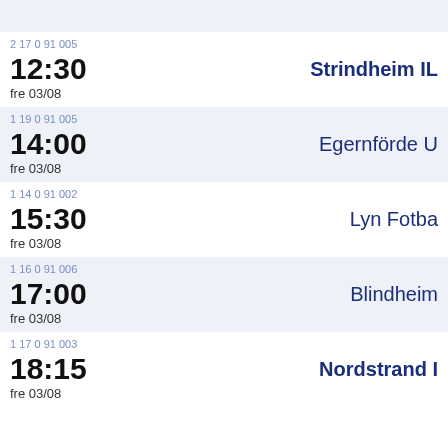2 17 0 91 005 | 12:30 | fre 03/08 | Strindheim IL
1 19 0 91 005 | 14:00 | fre 03/08 | Egernförde U
1 14 0 91 002 | 15:30 | fre 03/08 | Lyn Fotba
1 16 0 91 006 | 17:00 | fre 03/08 | Blindheim
1 17 0 91 003 | 18:15 | fre 03/08 | Nordstrand I